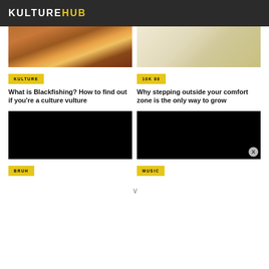KULTUREHUB
[Figure (photo): Photo of a person in colorful clothing, warm tones]
[Figure (photo): Light-colored illustration or sketch on cream background]
KULTURE
10K 80
What is Blackfishing? How to find out if you're a culture vulture
Why stepping outside your comfort zone is the only way to grow
[Figure (photo): Black video thumbnail]
[Figure (photo): Black video thumbnail]
BRUH
MUSIC